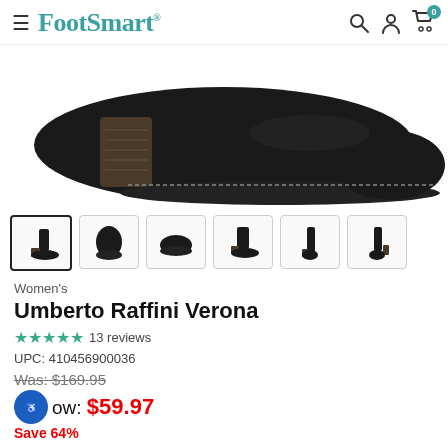FootSmart
[Figure (photo): Close-up of a black leather women's ankle boot with a stacked wooden heel, viewed from the side. The sole has visible stitching detail.]
[Figure (photo): Six thumbnail images of the Umberto Raffini Verona boot from different angles: side view (active/selected), front/toe view, bottom/sole view, profile right view, back view, and rear angled view.]
Women's
Umberto Raffini Verona
★★★★★ 13 reviews
UPC: 410456900036
Was: $169.95
Now: $59.97
Save 64%